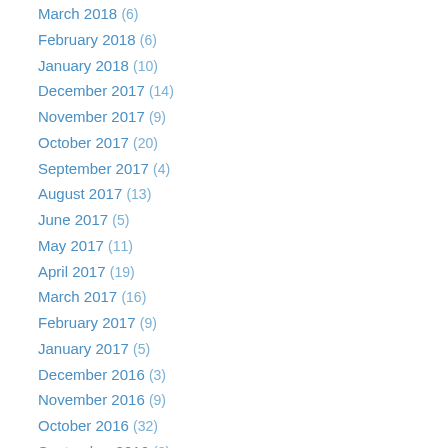March 2018 (6)
February 2018 (6)
January 2018 (10)
December 2017 (14)
November 2017 (9)
October 2017 (20)
September 2017 (4)
August 2017 (13)
June 2017 (5)
May 2017 (11)
April 2017 (19)
March 2017 (16)
February 2017 (9)
January 2017 (5)
December 2016 (3)
November 2016 (9)
October 2016 (32)
September 2016 (2)
July 2016 (1)